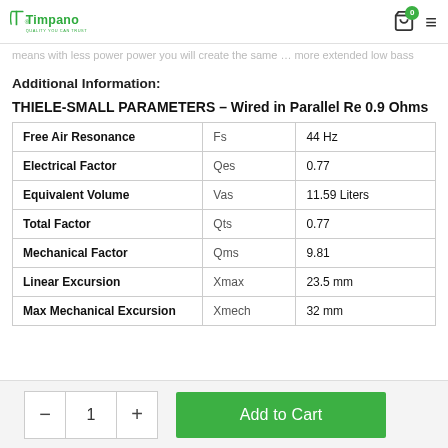Timpano — Quality You Can Trust
means with less power power you will create the same … more extended low bass tones.
Additional Information:
THIELE-SMALL PARAMETERS – Wired in Parallel Re 0.9 Ohms
|  | Symbol | Value |
| --- | --- | --- |
| Free Air Resonance | Fs | 44 Hz |
| Electrical Factor | Qes | 0.77 |
| Equivalent Volume | Vas | 11.59 Liters |
| Total Factor | Qts | 0.77 |
| Mechanical Factor | Qms | 9.81 |
| Linear Excursion | Xmax | 23.5 mm |
| Max Mechanical Excursion | Xmech | 32 mm |
- 1 + Add to Cart